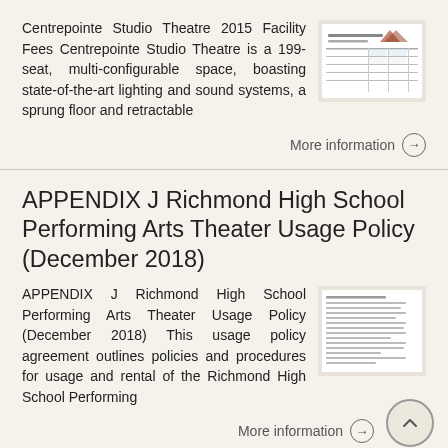Centrepointe Studio Theatre 2015 Facility Fees Centrepointe Studio Theatre is a 199-seat, multi-configurable space, boasting state-of-the-art lighting and sound systems, a sprung floor and retractable
[Figure (screenshot): Thumbnail of Centrepointe Studio Theatre 2015 Facility Fees document]
More information →
APPENDIX J Richmond High School Performing Arts Theater Usage Policy (December 2018)
APPENDIX J Richmond High School Performing Arts Theater Usage Policy (December 2018) This usage policy agreement outlines policies and procedures for usage and rental of the Richmond High School Performing
[Figure (screenshot): Thumbnail of Richmond High School Performing Arts Theater Usage Policy document]
More information →